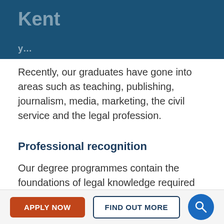Kent
Recently, our graduates have gone into areas such as teaching, publishing, journalism, media, marketing, the civil service and the legal profession.
Professional recognition
Our degree programmes contain the foundations of legal knowledge required by the Bar Standards Board to satisfy the academic component of professional training for intending barristers. For entrants in 2021 who wish to qualify as a solicitor, our programmes can lead to the award of a Qualifying Law Degr…